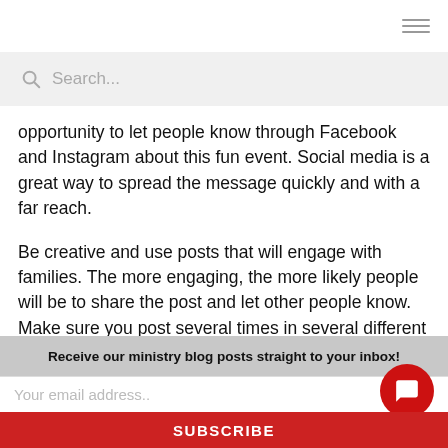[hamburger menu icon]
Search...
opportunity to let people know through Facebook and Instagram about this fun event. Social media is a great way to spread the message quickly and with a far reach.
Be creative and use posts that will engage with families. The more engaging, the more likely people will be to share the post and let other people know. Make sure you post several times in several different ways leading up to the event.
1. Make a short video inviting families to the event an
Receive our ministry blog posts straight to your inbox!
Your email address..
SUBSCRIBE